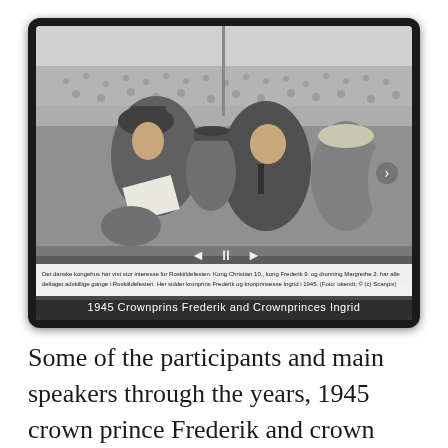[Figure (photo): Black and white historical photograph showing a woman in a hat reading a paper and a man in a suit smiling, seated at what appears to be a large public event with a crowd in the background. Caption reads: Det danske kongehus har vist stor interesse for Roskildefesten. Kong Christian 10., kong Frederik 9. og dronning Margrethe 2. har alle deltaget adskillige gange i Roskiildefesten. Her sidder kronprins Frederik og kronprinsesse Ingrid i 1945. (Foto: ukendt; © (c) Scanpix). Title overlay: 1945 Crownprins Frederik and Crownprinces Ingrid]
Some of the participants and main speakers through the years, 1945 crown prince Frederik and crown princes Ingrid, 1962 Richard Nixon,